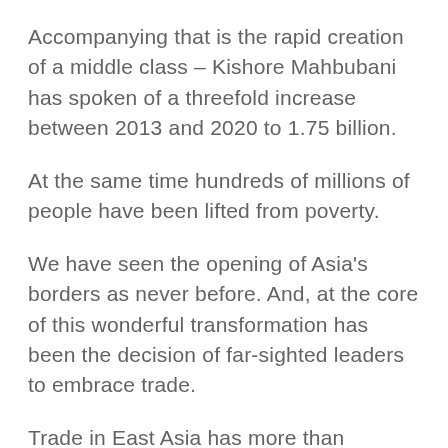Accompanying that is the rapid creation of a middle class – Kishore Mahbubani has spoken of a threefold increase between 2013 and 2020 to 1.75 billion.
At the same time hundreds of millions of people have been lifted from poverty.
We have seen the opening of Asia's borders as never before. And, at the core of this wonderful transformation has been the decision of far-sighted leaders to embrace trade.
Trade in East Asia has more than doubled since 2000 and the region has become one of the most active players as a source and recipient of foreign investment.